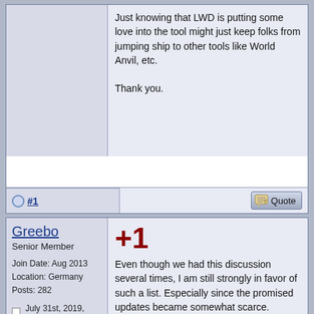Just knowing that LWD is putting some love into the tool might just keep folks from jumping ship to other tools like World Anvil, etc.

Thank you.
#1
Greebo
Senior Member
Join Date: Aug 2013
Location: Germany
Posts: 282
July 31st, 2019, 02:37 AM
+1

Even though we had this discussion several times, I am still strongly in favor of such a list. Especially since the promised updates became somewhat scarce.
Supporting Calendar Campaigner
Tools: Realm Works, Campaign Cartographer 3+ and Add-ons, MapTools
Games: home brew world, Lord of the Rings (CODA),